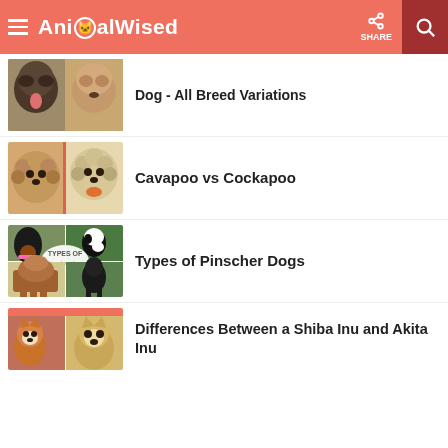AnimalWised
Dog - All Breed Variations
[Figure (photo): Two dogs side by side - a dark shepherd-type dog with tongue out and a brown fluffy dog]
Cavapoo vs Cockapoo
[Figure (photo): Two fluffy dogs side by side - a brown curly puppy and a light golden fluffy puppy]
Types of Pinscher Dogs
[Figure (photo): Collage of four pinscher dogs with text overlay 'TYPES OF pinscher dogs']
Differences Between a Shiba Inu and Akita Inu
[Figure (photo): Partially visible photo showing two dogs - shiba inu and akita inu]